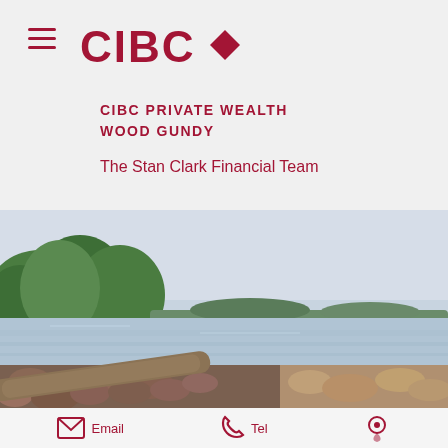[Figure (logo): CIBC logo with red diamond shape and bold red CIBC text]
CIBC PRIVATE WEALTH
WOOD GUNDY
The Stan Clark Financial Team
[Figure (photo): Lakeside landscape photo with rocky shore in the foreground, calm water in the middle, and green trees on a far shore under an overcast sky]
Email  Tel